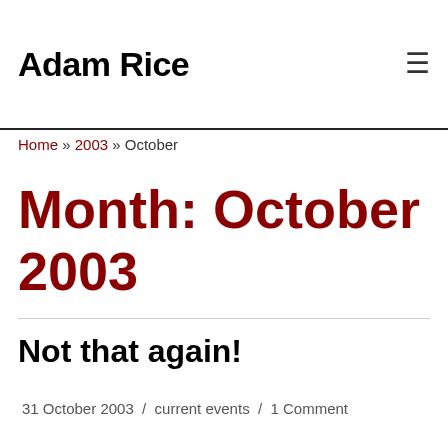Adam Rice
Home » 2003 » October
Month: October 2003
Not that again!
31 October 2003  /  current events  /  1 Comment